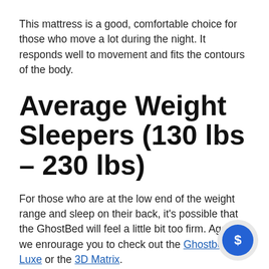This mattress is a good, comfortable choice for those who move a lot during the night. It responds well to movement and fits the contours of the body.
Average Weight Sleepers (130 lbs – 230 lbs)
For those who are at the low end of the weight range and sleep on their back, it's possible that the GhostBed will feel a little bit too firm. Again, we enrourage you to check out the Ghostbed Luxe or the 3D Matrix.